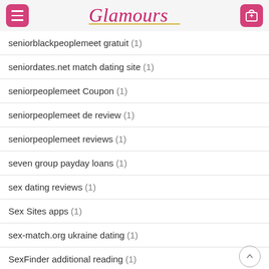Glamours
seniorblackpeoplemeet gratuit (1)
seniordates.net match dating site (1)
seniorpeoplemeet Coupon (1)
seniorpeoplemeet de review (1)
seniorpeoplemeet reviews (1)
seven group payday loans (1)
sex dating reviews (1)
Sex Sites apps (1)
sex-match.org ukraine dating (1)
SexFinder additional reading (1)